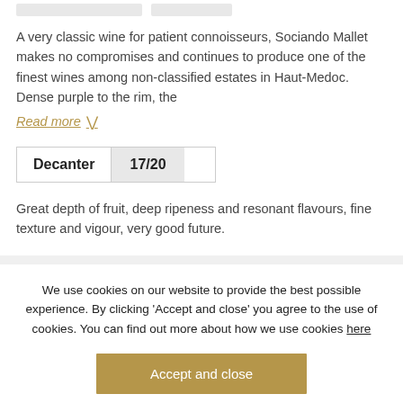A very classic wine for patient connoisseurs, Sociando Mallet makes no compromises and continues to produce one of the finest wines among non-classified estates in Haut-Medoc. Dense purple to the rim, the
Read more
| Decanter | 17/20 |
| --- | --- |
Great depth of fruit, deep ripeness and resonant flavours, fine texture and vigour, very good future.
We use cookies on our website to provide the best possible experience. By clicking ‘Accept and close’ you agree to the use of cookies. You can find out more about how we use cookies here
Accept and close